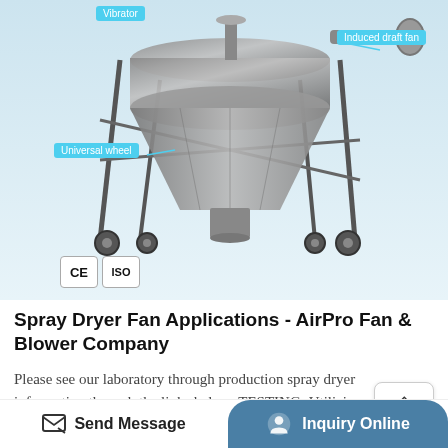[Figure (photo): Spray dryer machine with labeled components: Vibrator (top), Induced draft fan (top right), Universal wheel (left side). CE and ISO certification badges shown at bottom left of image.]
Spray Dryer Fan Applications - AirPro Fan & Blower Company
Please see our laboratory through production spray dryer information through the links below. TESTING: Utilizing our test centers located in the United States, we perform preliminary evaluation services with both open and closed loop Buchi systems, formulation development, as well as scale up pilot plant testing services (both short and long ...
Send Message | Inquiry Online